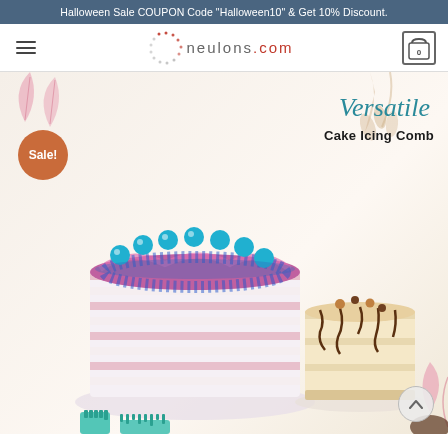Halloween Sale COUPON Code "Halloween10" & Get 10% Discount.
[Figure (logo): neulons.com logo with circular dot pattern and text]
[Figure (photo): Product photo showing decorative cakes with text 'Versatile Cake Icing Comb' and a Sale badge. Two cakes visible: a large pink/blue cake with turquoise balls on top, and a smaller caramel cake with chocolate drizzle. Teal cake icing combs visible at bottom.]